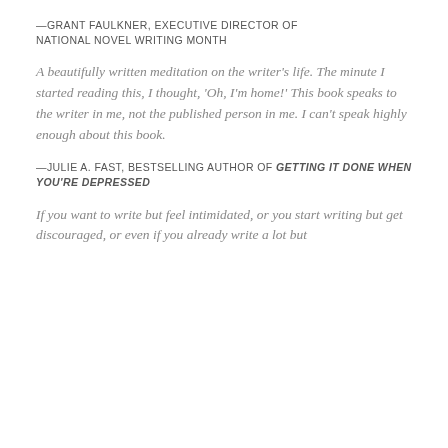—GRANT FAULKNER, EXECUTIVE DIRECTOR OF NATIONAL NOVEL WRITING MONTH
A beautifully written meditation on the writer's life. The minute I started reading this, I thought, 'Oh, I'm home!' This book speaks to the writer in me, not the published person in me. I can't speak highly enough about this book.
—JULIE A. FAST, BESTSELLING AUTHOR OF GETTING IT DONE WHEN YOU'RE DEPRESSED
If you want to write but feel intimidated, or you start writing but get discouraged, or even if you already write a lot but